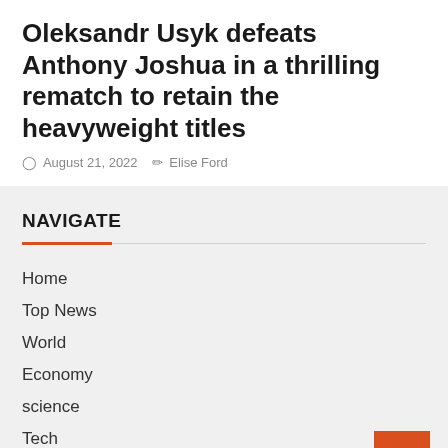Oleksandr Usyk defeats Anthony Joshua in a thrilling rematch to retain the heavyweight titles
August 21, 2022   Elise Ford
NAVIGATE
Home
Top News
World
Economy
science
Tech
sport